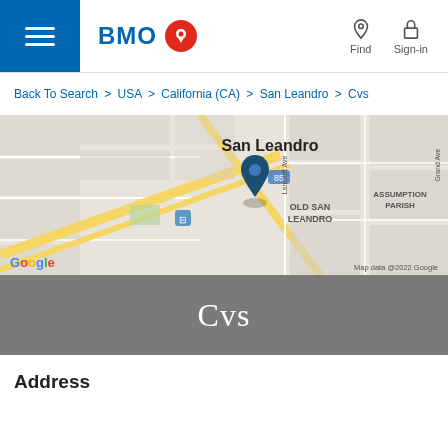BMO — Find | Sign-in
Back To Search > USA > California (CA) > San Leandro > Cvs
[Figure (map): Google Map showing San Leandro area with a dark blue pin marker near Old San Leandro neighborhood, showing streets, Assumption Parish area, and a transit stop. Map data @2022 Google.]
Cvs
Address